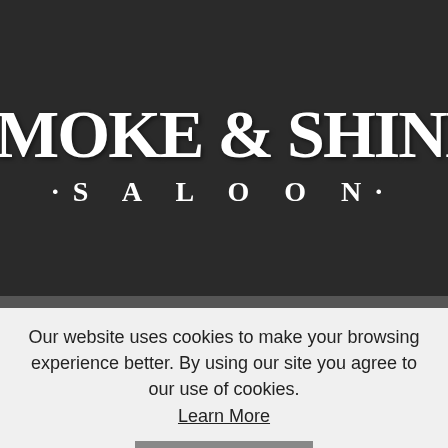[Figure (logo): Smoke & Shine Saloon logo with large bold serif white text on dark background. Top line reads 'SMOKE & SHINE' and below reads '·SALOON·' with spaced letters.]
Our website uses cookies to make your browsing experience better. By using our site you agree to our use of cookies.
Learn More
I Agree